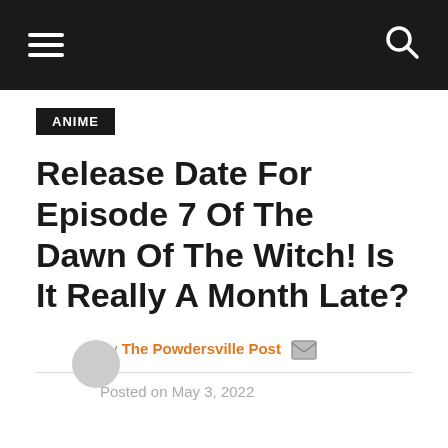ANIME
Release Date For Episode 7 Of The Dawn Of The Witch! Is It Really A Month Late?
By The Powdersville Post
Posted on May 3, 2022